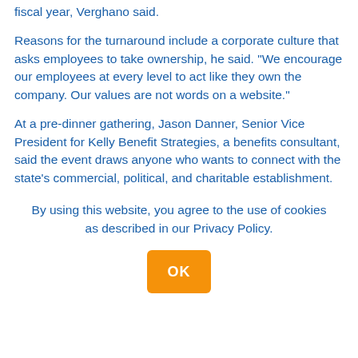fiscal year, Verghano said.
Reasons for the turnaround include a corporate culture that asks employees to take ownership, he said. “We encourage our employees at every level to act like they own the company. Our values are not words on a website.”
At a pre-dinner gathering, Jason Danner, Senior Vice President for Kelly Benefit Strategies, a benefits consultant, said the event draws anyone who wants to connect with the state’s commercial, political, and charitable establishment.
By using this website, you agree to the use of cookies as described in our Privacy Policy.
OK